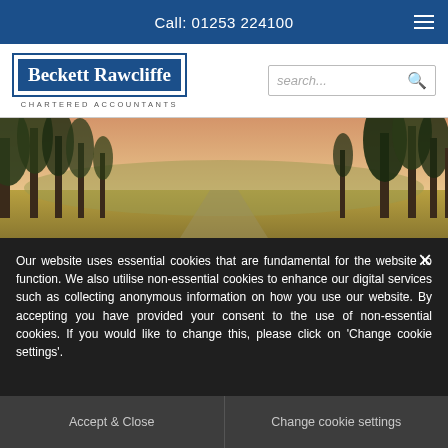Call: 01253 224100
[Figure (logo): Beckett Rawcliffe Chartered Accountants logo with blue box border and dark blue background text]
[Figure (photo): Landscape photo showing trees and golden countryside/field scene with warm sunset light]
Our website uses essential cookies that are fundamental for the website to function. We also utilise non-essential cookies to enhance our digital services such as collecting anonymous information on how you use our website. By accepting you have provided your consent to the use of non-essential cookies. If you would like to change this, please click on 'Change cookie settings'.
Accept & Close
Change cookie settings